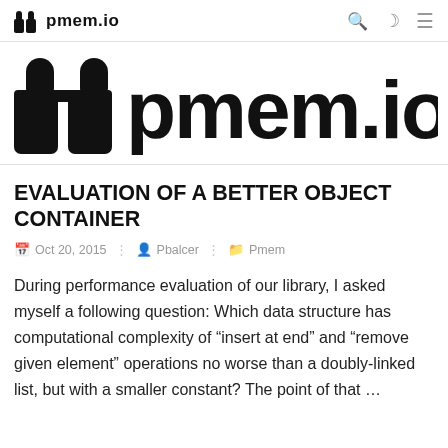pmem.io
[Figure (logo): Large pmem.io logo with elephant/memory icon on the left and bold text pmem.io on the right]
EVALUATION OF A BETTER OBJECT CONTAINER
Oct 20, 2015 · Pbalcer · Pmem
During performance evaluation of our library, I asked myself a following question: Which data structure has computational complexity of “insert at end” and “remove given element” operations no worse than a doubly-linked list, but with a smaller constant? The point of that …